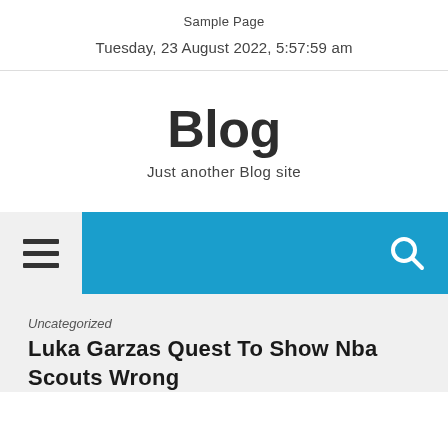Sample Page
Tuesday, 23 August 2022, 5:57:59 am
Blog
Just another Blog site
[Figure (screenshot): Navigation bar with hamburger menu icon on left and search icon on right, blue background]
Uncategorized
Luka Garzas Quest To Show Nba Scouts Wrong